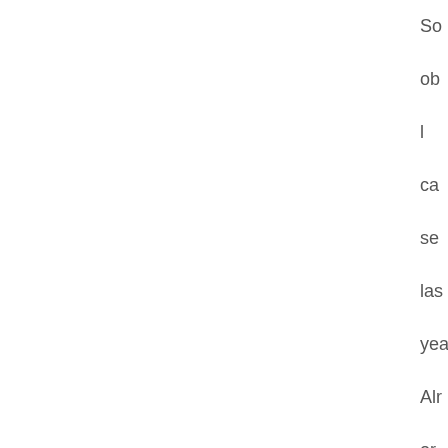So
ob
l
ca
se
las
yea
Alr
or
the
one
fro
yea
go
by.
l
oft